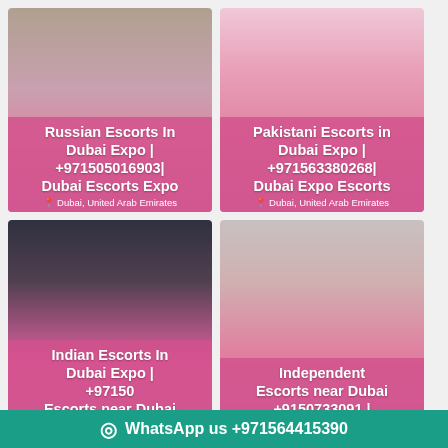[Figure (photo): Woman in striped dress - Russian Escorts card]
Russian Escorts In Dubai Expo | +971505016903| Dubai Escorts Expo
Dubai, United Arab Emirates
[Figure (photo): Woman with long dark hair - Pakistani Escorts card]
Pakistani Escorts in Dubai Expo | +971563380268| Dubai Expo Escorts
Dubai, United Arab Emirates
[Figure (photo): Woman in pink outfit - Indian Escorts card]
Indian Escorts In Dubai Expo | +97150... Escorts near Dubai
[Figure (photo): Woman with light brown hair - Independent Escorts card]
Independent Escorts near Dubai ... +9715073309913 |
WhatsApp us +971564415390